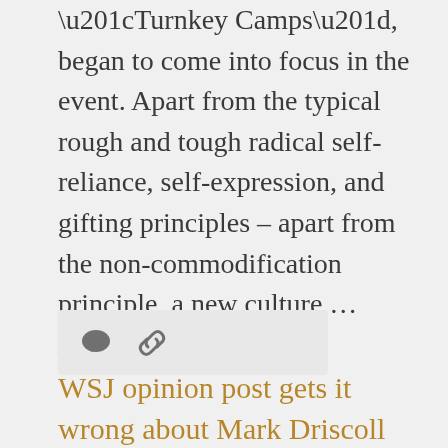“Turnkey Camps”, began to come into focus in the event. Apart from the typical rough and tough radical self-reliance, self-expression, and gifting principles – apart from the non-commodification principle, a new culture … More
[Figure (other): Social interaction icons: comment bubble and chain-link icon inside a light grey rounded rectangle]
WSJ opinion post gets it wrong about Mark Driscoll
November ...